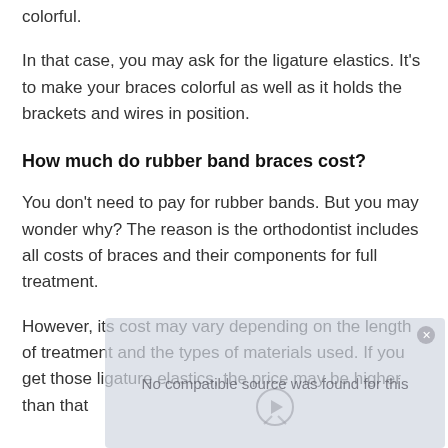colorful.
In that case, you may ask for the ligature elastics. It's to make your braces colorful as well as it holds the brackets and wires in position.
How much do rubber band braces cost?
You don't need to pay for rubber bands. But you may wonder why? The reason is the orthodontist includes all costs of braces and their components for full treatment.
However, its cost may vary depending on the length of treatment and the types of materials used. If you get those ligature elastics, the price may be higher than that
[Figure (other): Video player overlay with message 'No compatible source was found for this' and a close button and play icon at the bottom]